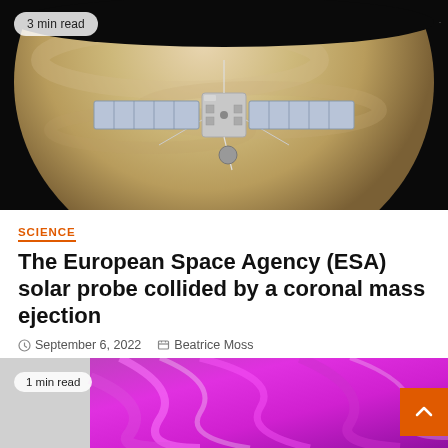[Figure (photo): Solar probe spacecraft in front of Venus planet, with solar panels extended, against dark space background. Shows '3 min read' badge in top left corner.]
SCIENCE
The European Space Agency (ESA) solar probe collided by a coronal mass ejection
September 6, 2022   Beatrice Moss
[Figure (photo): Partial image at bottom showing purple/magenta swirling abstract or space imagery. Shows '1 min read' badge.]